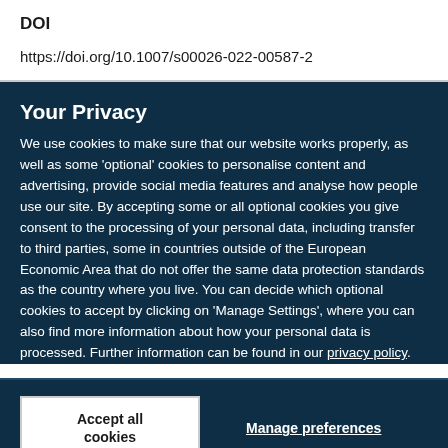DOI
https://doi.org/10.1007/s00026-022-00587-2
Your Privacy
We use cookies to make sure that our website works properly, as well as some ‘optional’ cookies to personalise content and advertising, provide social media features and analyse how people use our site. By accepting some or all optional cookies you give consent to the processing of your personal data, including transfer to third parties, some in countries outside of the European Economic Area that do not offer the same data protection standards as the country where you live. You can decide which optional cookies to accept by clicking on ‘Manage Settings’, where you can also find more information about how your personal data is processed. Further information can be found in our privacy policy.
Accept all cookies
Manage preferences